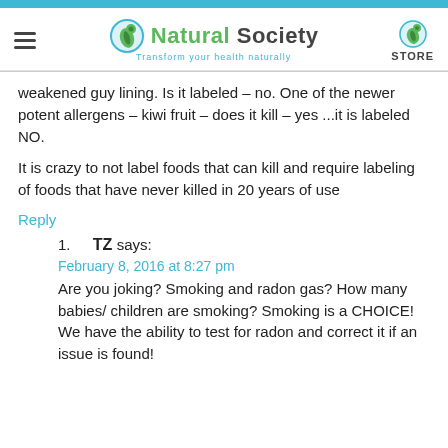Natural Society — Transform your health naturally | STORE
weakened guy lining. Is it labeled – no. One of the newer potent allergens – kiwi fruit – does it kill – yes ...it is labeled NO.
It is crazy to not label foods that can kill and require labeling of foods that have never killed in 20 years of use
Reply
1. TZ says:
February 8, 2016 at 8:27 pm
Are you joking? Smoking and radon gas? How many babies/ children are smoking? Smoking is a CHOICE! We have the ability to test for radon and correct it if an issue is found!